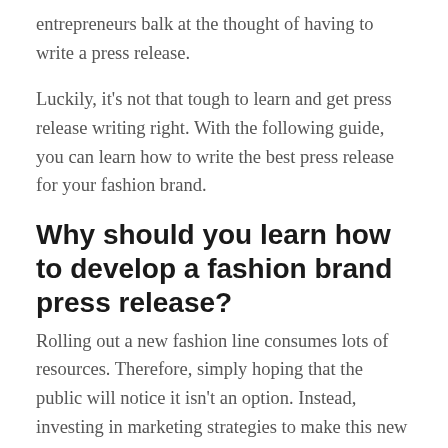entrepreneurs balk at the thought of having to write a press release.
Luckily, it's not that tough to learn and get press release writing right. With the following guide, you can learn how to write the best press release for your fashion brand.
Why should you learn how to develop a fashion brand press release?
Rolling out a new fashion line consumes lots of resources. Therefore, simply hoping that the public will notice it isn't an option. Instead, investing in marketing strategies to make this new line noticeable to the public is essential. This is where the press release